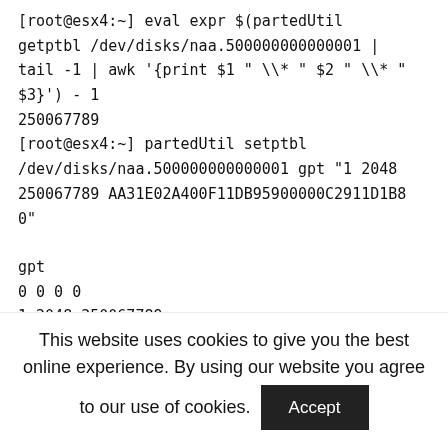[root@esx4:~] eval expr $(partedUtil getptbl /dev/disks/naa.500000000000001 | tail -1 | awk '{print $1 " \\* " $2 " \\* " $3}') - 1
250067789
[root@esx4:~] partedUtil setptbl /dev/disks/naa.500000000000001 gpt "1 2048 250067789 AA31E02A400F11DB95900000C2911D1B80"

gpt
0 0 0 0
1 2048 250067789
This website uses cookies to give you the best online experience. By using our website you agree to our use of cookies.